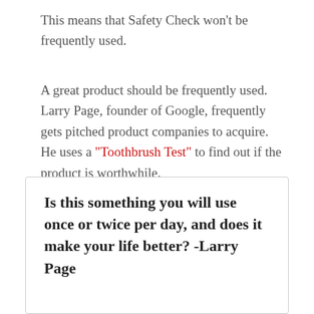This means that Safety Check won't be frequently used.
A great product should be frequently used. Larry Page, founder of Google, frequently gets pitched product companies to acquire. He uses a “Toothbrush Test” to find out if the product is worthwhile.
Is this something you will use once or twice per day, and does it make your life better? -Larry Page